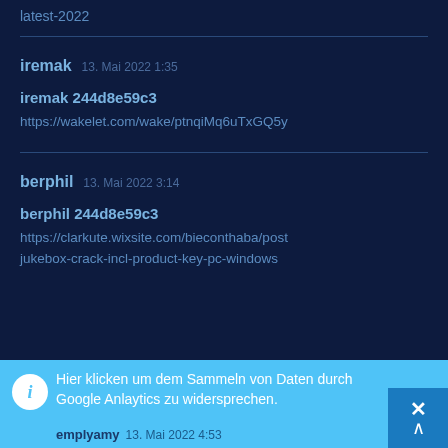latest-2022
iremak   13. Mai 2022 1:35
iremak 244d8e59c3
https://wakelet.com/wake/ptnqiMq6uTxGQ5y
berphil   13. Mai 2022 3:14
berphil 244d8e59c3
https://clarkute.wixsite.com/bieconthaba/post
jukebox-crack-incl-product-key-pc-windows
Hier klicken um dem Sammeln von Daten durch Google Anlaytic zu widersprechen.
emplyamy   13. Mai 2022 4:53